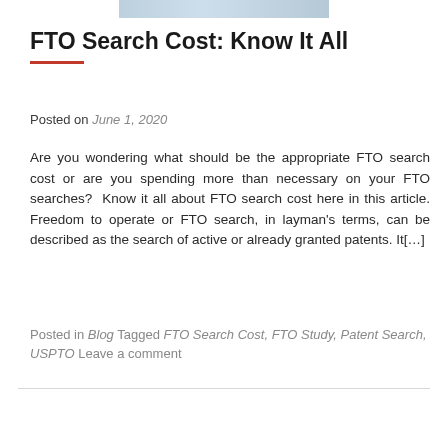[Figure (photo): Banner image at top of page, partially visible, appears to be a decorative header graphic]
FTO Search Cost: Know It All
Posted on June 1, 2020
Are you wondering what should be the appropriate FTO search cost or are you spending more than necessary on your FTO searches?  Know it all about FTO search cost here in this article. Freedom to operate or FTO search, in layman's terms, can be described as the search of active or already granted patents. It[…]
Posted in Blog Tagged FTO Search Cost, FTO Study, Patent Search, USPTO Leave a comment